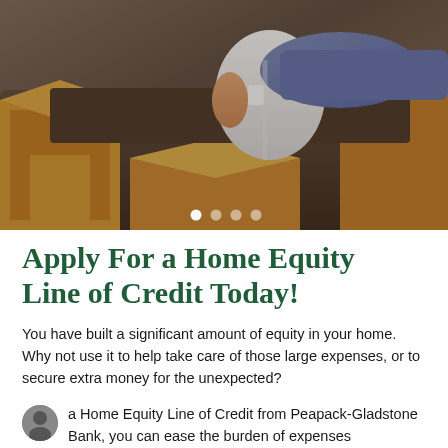[Figure (photo): Photo of two people relaxing on a couch surrounded by moving boxes, viewed from above/side angle. Slider dots visible at bottom of image.]
Apply For a Home Equity Line of Credit Today!
You have built a significant amount of equity in your home. Why not use it to help take care of those large expenses, or to secure extra money for the unexpected?
a Home Equity Line of Credit from Peapack-Gladstone Bank, you can ease the burden of expenses